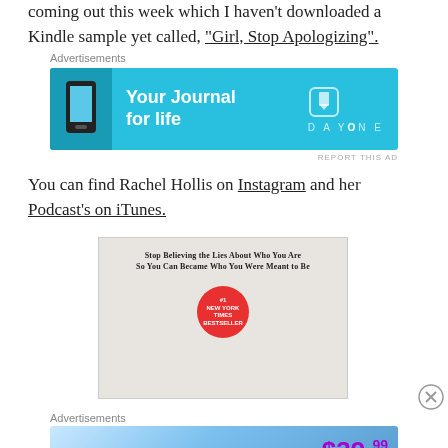coming out this week which I haven't downloaded a Kindle sample yet called, "Girl, Stop Apologizing".
Advertisements
[Figure (screenshot): DayOne app advertisement: 'Your Journal for life' on a cyan/blue background with a phone mockup and DayOne logo]
You can find Rachel Hollis on Instagram and her Podcast's on iTunes.
[Figure (photo): Book cover image: 'Stop Believing the Lies About Who You Are So You Can Become Who You Were Meant to Be' with a #1 New York Times Bestseller badge and a woman posing]
Advertisements
[Figure (screenshot): Tumblr Ad-Free Browsing advertisement: $39.99 a year or $4.99 a month on a blue gradient background]